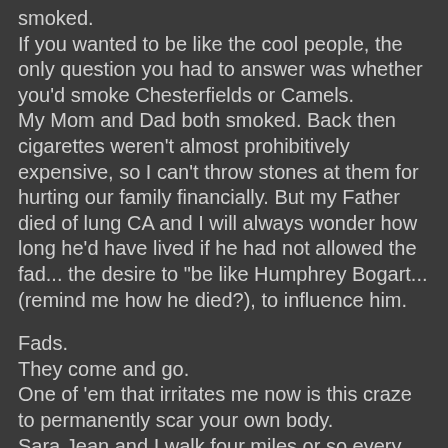smoked. If you wanted to be like the cool people, the only question you had to answer was whether you'd smoke Chesterfields or Camels. My Mom and Dad both smoked. Back then cigarettes weren't almost prohibitively expensive, so I can't throw stones at them for hurting our family financially. But my Father died of lung CA and I will always wonder how long he'd have lived if he had not allowed the fad... the desire to "be like Humphrey Bogart... (remind me how he died?), to influence him.
Fads. They come and go. One of 'em that irritates me now is this craze to permanently scar your own body. Sara Jean and I walk four miles or so every evening. The other night, from about a football field's distance, I saw an attractive woman in short-shorts unloading groceries from her car.